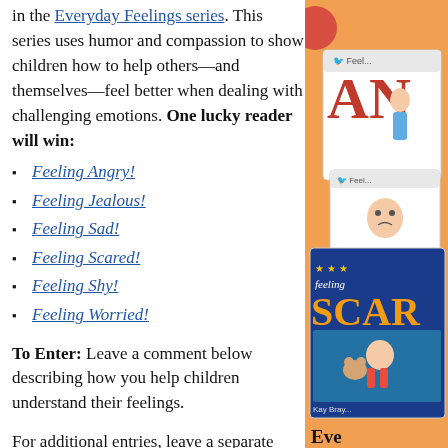in the Everyday Feelings series. This series uses humor and compassion to show children how to help others—and themselves—feel better when dealing with challenging emotions. One lucky reader will win:
Feeling Angry!
Feeling Jealous!
Feeling Sad!
Feeling Scared!
Feeling Shy!
Feeling Worried!
To Enter: Leave a comment below describing how you help children understand their feelings.
For additional entries, leave a separate comment below for each of the following
[Figure (illustration): Stack of Everyday Feelings book covers including Feeling Angry, Feeling Jealous/Scared visible, on an orange background. Text 'Eve' visible at bottom.]